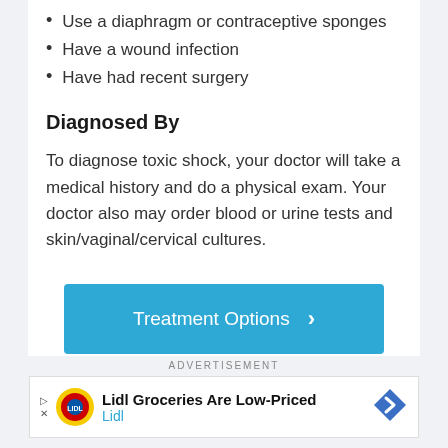Use a diaphragm or contraceptive sponges
Have a wound infection
Have had recent surgery
Diagnosed By
To diagnose toxic shock, your doctor will take a medical history and do a physical exam. Your doctor also may order blood or urine tests and skin/vaginal/cervical cultures.
[Figure (other): Treatment Options button — blue rectangular button with right chevron arrow]
ADVERTISEMENT
[Figure (other): Lidl Groceries Are Low-Priced advertisement banner with Lidl logo and navigation arrow icon]